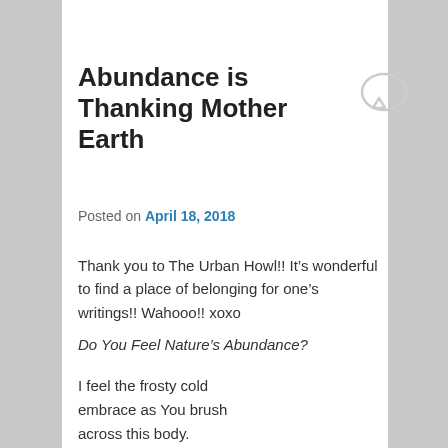Abundance is Thanking Mother Earth
[Figure (illustration): Speech bubble / comment icon, light gray outline, top right area]
Posted on April 18, 2018
Thank you to The Urban Howl!! It's wonderful to find a place of belonging for one's writings!! Wahooo!! xoxo
Do You Feel Nature's Abundance?
I feel the frosty cold
embrace as You brush
across this body.
I feel and Know
your Abundance.

I touch and hug
the beautiful,
scarred and knotted
trees that sprout